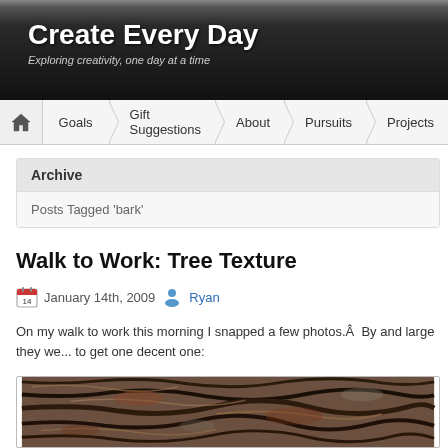Create Every Day — Exploring creativity, one day at a time
Goals | Gift Suggestions | About | Pursuits | Projects
Archive
Posts Tagged 'bark'
Walk to Work: Tree Texture
January 14th, 2009  Ryan
On my walk to work this morning I snapped a few photos.Â  By and large they we... to get one decent one:
[Figure (photo): Close-up photograph of tree bark showing rough, textured brown and grey bark surface with deep grooves and ridges.]